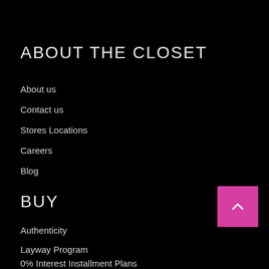ABOUT THE CLOSET
About us
Contact us
Stores Locations
Careers
Blog
BUY
Authenticity
Layway Program
0% Interest Installment Plans